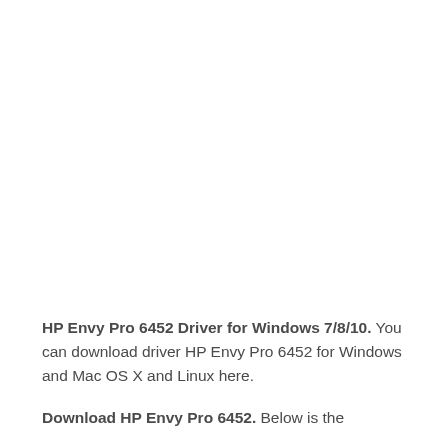HP Envy Pro 6452 Driver for Windows 7/8/10. You can download driver HP Envy Pro 6452 for Windows and Mac OS X and Linux here.
Download HP Envy Pro 6452. Below is the...